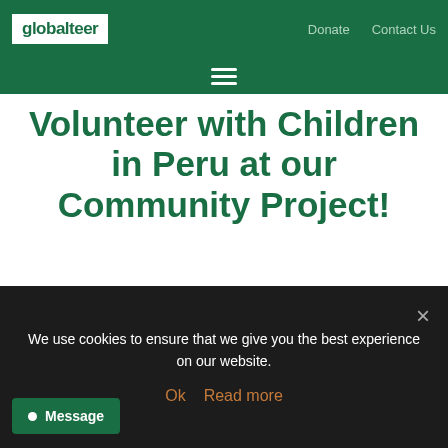globalteer | Donate | Contact Us
Volunteer with Children in Peru at our Community Project!
[Figure (photo): Close-up photo of smiling children in Peru wearing traditional red clothing and hats]
We use cookies to ensure that we give you the best experience on our website.
Ok  Read more
Message